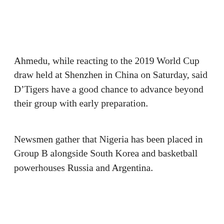Ahmedu, while reacting to the 2019 World Cup draw held at Shenzhen in China on Saturday, said D’Tigers have a good chance to advance beyond their group with early preparation.
Newsmen gather that Nigeria has been placed in Group B alongside South Korea and basketball powerhouses Russia and Argentina.